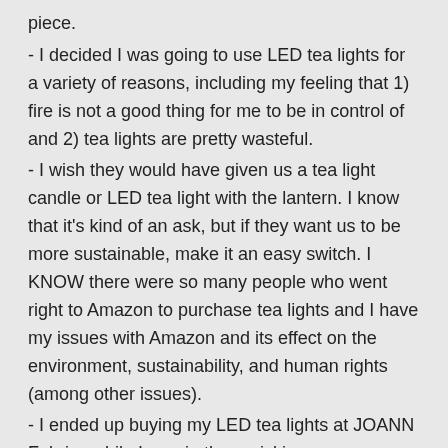piece.
- I decided I was going to use LED tea lights for a variety of reasons, including my feeling that 1) fire is not a good thing for me to be in control of and 2) tea lights are pretty wasteful.
- I wish they would have given us a tea light candle or LED tea light with the lantern. I know that it's kind of an ask, but if they want us to be more sustainable, make it an easy switch. I KNOW there were so many people who went right to Amazon to purchase tea lights and I have my issues with Amazon and its effect on the environment, sustainability, and human rights (among other issues).
- I ended up buying my LED tea lights at JOANN Fabrics while I was in there picking up some sewing supplies. They are gold and slightly shiny, so the light bounces off of them and the lantern shines brightly similar to the light emitted with a real tea light candle (I tested both).